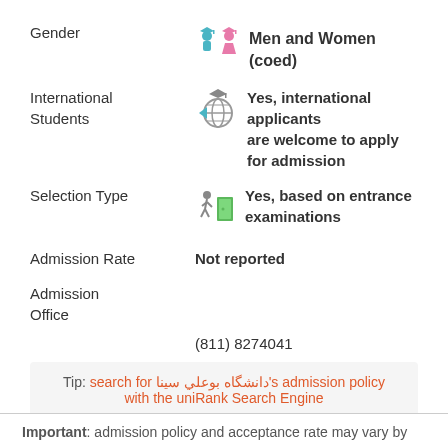Gender — Men and Women (coed)
International Students — Yes, international applicants are welcome to apply for admission
Selection Type — Yes, based on entrance examinations
Admission Rate — Not reported
Admission Office — (811) 8274041
Tip: search for دانشگاه بوعلي سينا's admission policy with the uniRank Search Engine
Important: admission policy and acceptance rate may vary by